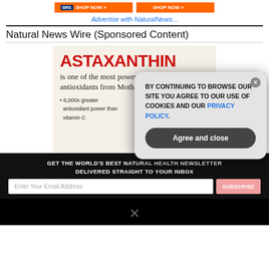[Figure (screenshot): Two orange 'SHOP NOW >' advertisement banners at the top]
Advertise with NaturalNews...
Natural News Wire (Sponsored Content)
[Figure (advertisement): Astaxanthin supplement advertisement: 'ASTAXANTHIN is one of the most powerful antioxidants from Mother Nature! * 6,000x greater antioxidant power than vitamin C' with NAXA-VERIFIED badge and woman's face]
GET THE WORLD'S BEST NATURAL HEALTH NEWSLETTER DELIVERED STRAIGHT TO YOUR INBOX
Enter Your Email Address
SUBSCRIBE
BY CONTINUING TO BROWSE OUR SITE YOU AGREE TO OUR USE OF COOKIES AND OUR PRIVACY POLICY.
Agree and close